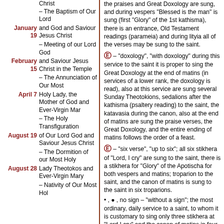Christ – The Baptism of Our Lord and God and Saviour Jesus Christ (January 19)
– Meeting of our Lord God and Saviour Jesus Christ in the Temple (February 15)
– The Annunciation of Our Most Holy Lady, the Mother of God and Ever-Virgin Mar (April 7)
– The Holy Transfiguration of Our Lord God and Saviour Jesus Christ (August 19)
– The Dormition of our Most Holy Lady Theotokos and Ever-Virgin Mary (August 28)
– Nativity of Our Most Holy...
the praises and Great Doxology are sung, and during vespers "Blessed is the man" is sung (first "Glory" of the 1st kathisma), there is an entrance, Old Testament readings (parameia) and during lityia all of the verses may be sung to the saint.
– "doxology", "with doxology" during this service to the saint it is proper to sing the Great Doxology at the end of matins (in services of a lower rank, the doxology is read), also at this service are sung several Sunday Theotokions, sedalions after the kathisma (psaltery reading) to the saint, the katavasia during the canon, also at the end of matins are sung the praise verses, the Great Doxology, and the entire ending of matins follows the order of a feast.
– "six verse", "up to six"; all six stikhera of "Lord, I cry" are sung to the saint, there is a stikhera for "Glory" of the Apotischa for both vespers and matins; troparion to the saint, and the canon of matins is sung to the saint in six troparions.
, , no sign – "without a sign"; the most ordinary, daily service to a saint, to whom it is customary to sing only three stikhera at "Lord I cry" and the canon of matins in four troparions. There may not be a troparion to the saint.